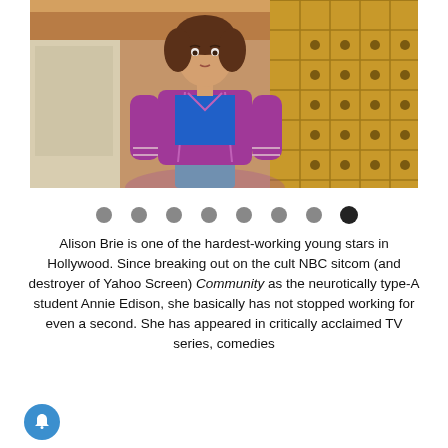[Figure (photo): A woman with curly brown hair wearing a purple bomber jacket over a blue shirt, standing in front of a rustic metallic background with geometric patterns. She appears to be on a TV or film set.]
[Figure (infographic): Eight navigation dots in a row, with seven grey and one black (the last one, indicating current position in a slideshow/carousel).]
Alison Brie is one of the hardest-working young stars in Hollywood. Since breaking out on the cult NBC sitcom (and destroyer of Yahoo Screen) Community as the neurotically type-A student Annie Edison, she basically has not stopped working for even a second. She has appeared in critically acclaimed TV series, comedies